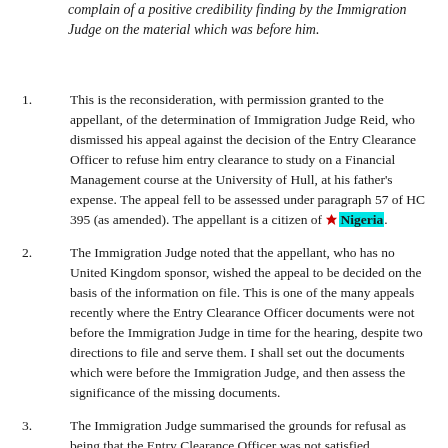complain of a positive credibility finding by the Immigration Judge on the material which was before him.
This is the reconsideration, with permission granted to the appellant, of the determination of Immigration Judge Reid, who dismissed his appeal against the decision of the Entry Clearance Officer to refuse him entry clearance to study on a Financial Management course at the University of Hull, at his father's expense. The appeal fell to be assessed under paragraph 57 of HC 395 (as amended). The appellant is a citizen of Nigeria.
The Immigration Judge noted that the appellant, who has no United Kingdom sponsor, wished the appeal to be decided on the basis of the information on file. This is one of the many appeals recently where the Entry Clearance Officer documents were not before the Immigration Judge in time for the hearing, despite two directions to file and serve them. I shall set out the documents which were before the Immigration Judge, and then assess the significance of the missing documents.
The Immigration Judge summarised the grounds for refusal as being that the Entry Clearance Officer was not satisfied